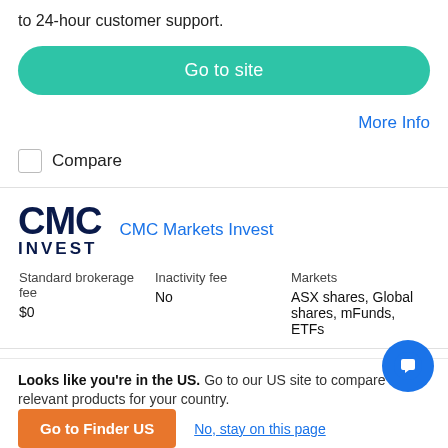to 24-hour customer support.
Go to site
More Info
Compare
[Figure (logo): CMC Invest logo — bold dark navy letters 'CMC' above 'INVEST']
CMC Markets Invest
| Standard brokerage fee | Inactivity fee | Markets |
| --- | --- | --- |
| $0 | No | ASX shares, Global shares, mFunds, ETFs |
Looks like you're in the US. Go to our US site to compare relevant products for your country.
Go to Finder US
No, stay on this page